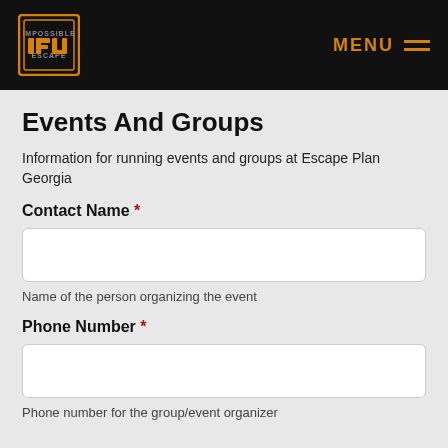IMPOSSIBLE ESCAPE | MENU
Events And Groups
Information for running events and groups at Escape Plan Georgia
Contact Name *
Name of the person organizing the event
Phone Number *
Phone number for the group/event organizer